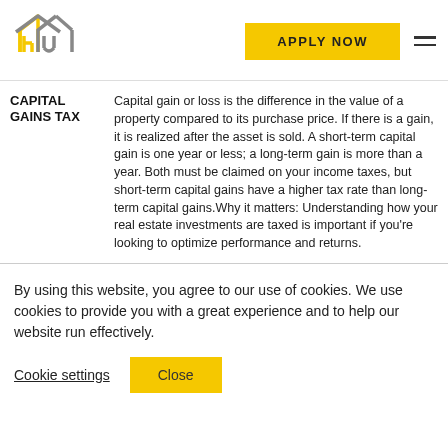[Figure (logo): Yellow and grey house logo icon with letters 'h' and 'u']
APPLY NOW
CAPITAL GAINS TAX
Capital gain or loss is the difference in the value of a property compared to its purchase price. If there is a gain, it is realized after the asset is sold. A short-term capital gain is one year or less; a long-term gain is more than a year. Both must be claimed on your income taxes, but short-term capital gains have a higher tax rate than long-term capital gains.Why it matters: Understanding how your real estate investments are taxed is important if you're looking to optimize performance and returns.
By using this website, you agree to our use of cookies. We use cookies to provide you with a great experience and to help our website run effectively.
Cookie settings
Close